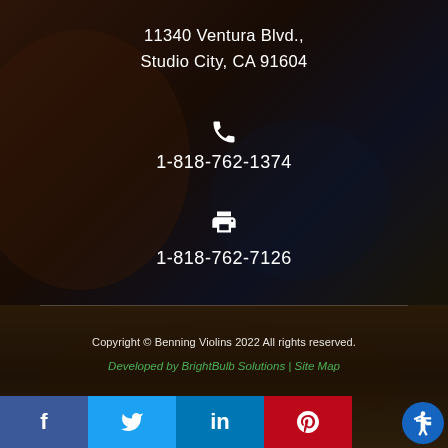[Figure (photo): Dark background photo of a person (luthier) working on a violin, with close-up of violin body parts visible in the lower half]
11340 Ventura Blvd.,
Studio City, CA 91604
[Figure (illustration): White phone handset icon]
1-818-762-1374
[Figure (illustration): White fax machine icon]
1-818-762-7126
Copyright © Benning Violins 2022 All rights reserved.
Developed by BrightBulb Solutions | Site Map
[Figure (infographic): Social media bar with Facebook, Twitter, LinkedIn, Pinterest icons, and an accessibility icon button on the right]